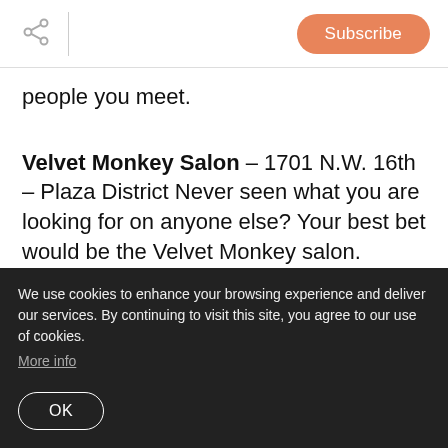Subscribe
people you meet.
Velvet Monkey Salon – 1701 N.W. 16th – Plaza District Never seen what you are looking for on anyone else? Your best bet would be the Velvet Monkey salon. Estrella Evans created a movement in OKC that has given us many great Salons in the Urban Core. Starting
We use cookies to enhance your browsing experience and deliver our services. By continuing to visit this site, you agree to our use of cookies. More info
OK